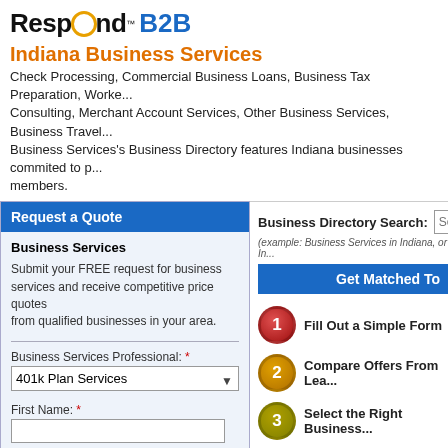[Figure (logo): RespondB2B logo with orange circle in letter O and blue B2B text]
Indiana Business Services
Check Processing, Commercial Business Loans, Business Tax Preparation, WorkersComp Consulting, Merchant Account Services, Other Business Services, Business Travel and more. Business Services's Business Directory features Indiana businesses commited to providing services to members.
Request a Quote
Business Services
Submit your FREE request for business services and receive competitive price quotes from qualified businesses in your area.
Business Services Professional: *
401k Plan Services
First Name: *
Last Name: *
Phone Number: *
Email Address: *
Zip Code/Postal: *
Business Directory Search:
(example: Business Services in Indiana, or In...
Get Matched To
Fill Out a Simple Form
Compare Offers From Lea...
Select the Right Business...
Indiana Check Processing
Indianapolis   Fort Wayne   Evansville   Jeffersonville   Muncie
Indiana Commercial Business Lo...
Indianapolis   Fort Wayne   Evansville